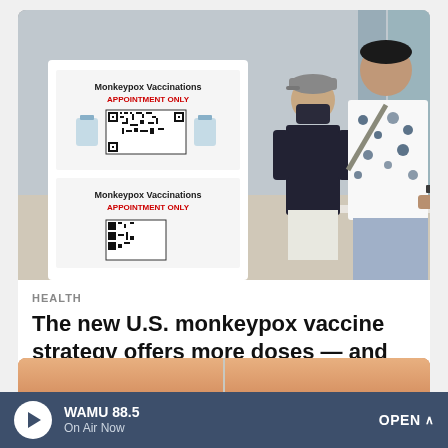[Figure (photo): Outdoor monkeypox vaccination station with a sign reading 'Monkeypox Vaccinations APPOINTMENT ONLY' and a QR code, a masked healthcare worker seated at a table, and a person in a floral shirt approaching.]
HEALTH
The new U.S. monkeypox vaccine strategy offers more doses — and uncertainty
[Figure (photo): Partial close-up photo of a person's face from the forehead down, warm skin tones, possibly showing an acupuncture needle or similar.]
WAMU 88.5 On Air Now OPEN ^